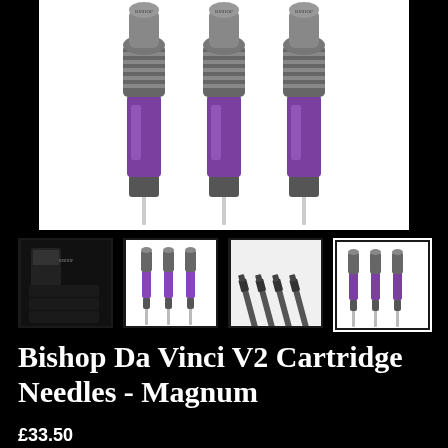[Figure (photo): Three Bishop Da Vinci V2 tattoo cartridge needles with purple/violet transparent plastic bodies and metallic grey tops, shown close up against white background]
[Figure (photo): Small thumbnail showing product packaging boxes for Bishop Da Vinci V2 cartridge needles]
[Figure (photo): Small thumbnail showing three cartridge needles with purple bodies from a slightly lower angle]
[Figure (photo): Small thumbnail showing four dark cartridge needles in a row against white background]
[Figure (photo): Small thumbnail (selected/highlighted) showing three cartridge needles with purple bodies, white background]
Bishop Da Vinci V2 Cartridge Needles - Magnum
£33.50